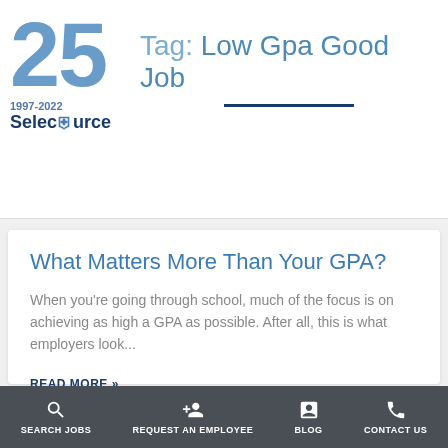[Figure (logo): SelecSource logo with '25' in large blue text and '1997-2022' below, with a lightbulb icon in the company name]
Tag: Low Gpa Good Job
What Matters More Than Your GPA?
When you're going through school, much of the focus is on achieving as high a GPA as possible. After all, this is what employers look...
READ MORE »
SEARCH JOBS   REQUEST AN EMPLOYEE   BLOG   CONTACT US